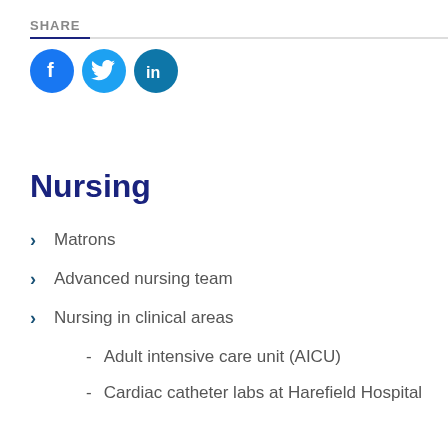SHARE
[Figure (illustration): Three social media icons: Facebook (blue circle with f), Twitter (light blue circle with bird), LinkedIn (teal circle with in)]
Nursing
Matrons
Advanced nursing team
Nursing in clinical areas
Adult intensive care unit (AICU)
Cardiac catheter labs at Harefield Hospital